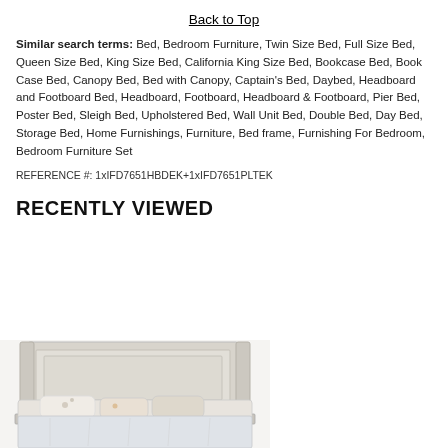Back to Top
Similar search terms: Bed, Bedroom Furniture, Twin Size Bed, Full Size Bed, Queen Size Bed, King Size Bed, California King Size Bed, Bookcase Bed, Book Case Bed, Canopy Bed, Bed with Canopy, Captain's Bed, Daybed, Headboard and Footboard Bed, Headboard, Footboard, Headboard & Footboard, Pier Bed, Poster Bed, Sleigh Bed, Upholstered Bed, Wall Unit Bed, Double Bed, Day Bed, Storage Bed, Home Furnishings, Furniture, Bed frame, Furnishing For Bedroom, Bedroom Furniture Set
REFERENCE #: 1xIFD7651HBDEK+1xIFD7651PLTEK
RECENTLY VIEWED
[Figure (photo): Photo of a white/grey wooden bed with headboard, shown partially at the bottom of the page]